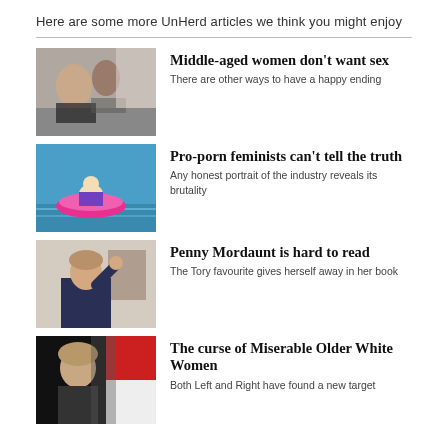Here are some more UnHerd articles we think you might enjoy
[Figure (photo): Two people in an intimate pose, indoor setting]
Middle-aged women don't want sex
There are other ways to have a happy ending
[Figure (photo): Blonde woman floating on pink inflatable in a pool]
Pro-porn feminists can't tell the truth
Any honest portrait of the industry reveals its brutality
[Figure (photo): Penny Mordaunt waving, wearing dark blazer]
Penny Mordaunt is hard to read
The Tory favourite gives herself away in her book
[Figure (photo): Hillary Clinton standing in front of a red and white flag]
The curse of Miserable Older White Women
Both Left and Right have found a new target